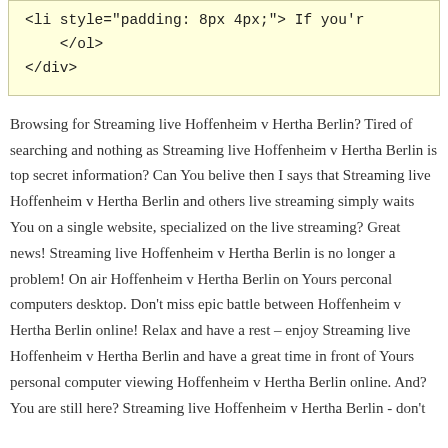[Figure (screenshot): Code snippet showing HTML: <li style="padding: 8px 4px;"> If you'r, </ol>, </div> on a yellow background]
Browsing for Streaming live Hoffenheim v Hertha Berlin? Tired of searching and nothing as Streaming live Hoffenheim v Hertha Berlin is top secret information? Can You belive then I says that Streaming live Hoffenheim v Hertha Berlin and others live streaming simply waits You on a single website, specialized on the live streaming? Great news! Streaming live Hoffenheim v Hertha Berlin is no longer a problem! On air Hoffenheim v Hertha Berlin on Yours perconal computers desktop. Don't miss epic battle between Hoffenheim v Hertha Berlin online! Relax and have a rest – enjoy Streaming live Hoffenheim v Hertha Berlin and have a great time in front of Yours personal computer viewing Hoffenheim v Hertha Berlin online. And? You are still here? Streaming live Hoffenheim v Hertha Berlin - don't